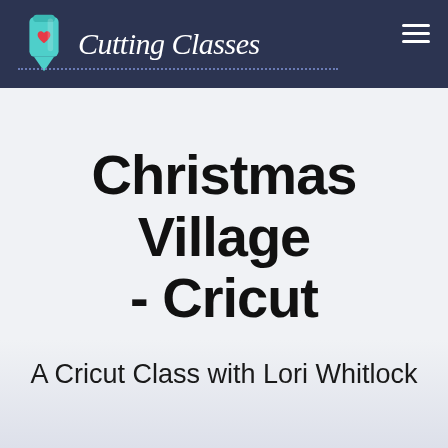Cutting Classes
Christmas Village - Cricut
A Cricut Class with Lori Whitlock